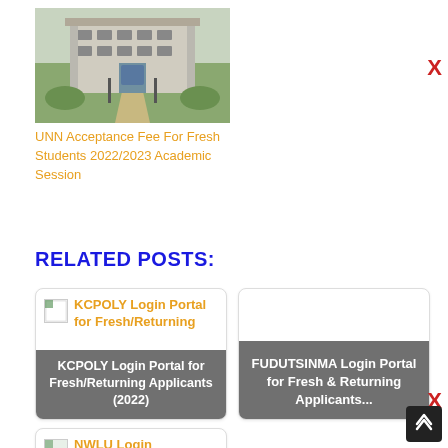[Figure (photo): Photo of a multi-storey university building with a tree-lined path leading to it]
UNN Acceptance Fee For Fresh Students 2022/2023 Academic Session
RELATED POSTS:
[Figure (other): Card for KCPOLY Login Portal for Fresh/Returning Applicants (2022) with image placeholder and overlay text]
[Figure (other): Card for FUDUTSINMA Login Portal for Fresh & Returning Applicants...]
[Figure (other): Partial card for NWLU Login (partially visible at bottom)]